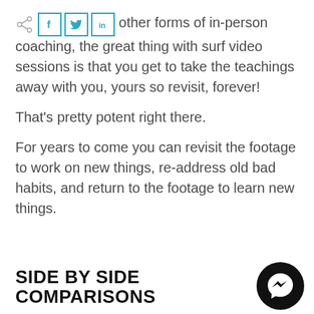Unlike virtual and all other forms of in-person coaching, the great thing with surf video sessions is that you get to take the teachings away with you, yours so revisit, forever!
That's pretty potent right there.
For years to come you can revisit the footage to work on new things, re-address old bad habits, and return to the footage to learn new things.
SIDE BY SIDE COMPARISONS